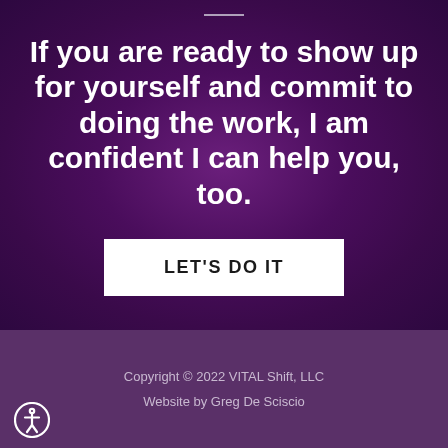If you are ready to show up for yourself and commit to doing the work, I am confident I can help you, too.
LET'S DO IT
Copyright © 2022 VITAL Shift, LLC
Website by Greg De Sciscio